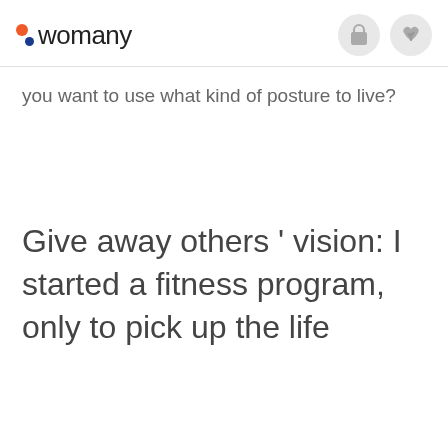womany
you want to use what kind of posture to live?
Give away others ' vision: I started a fitness program, only to pick up the life